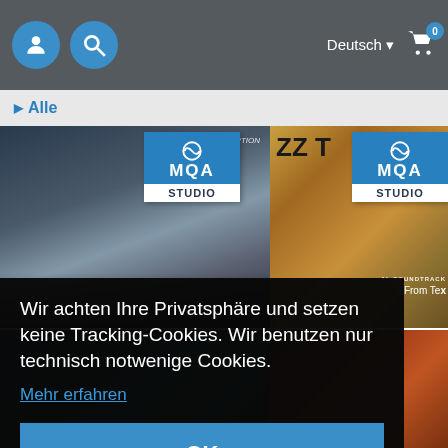Deutsch ▾  🛒 0
▶ Alle
[Figure (screenshot): Two album covers with MQA STUDIO badges. Left: dark cinematic movie-style image (Inception-like). Right: ZZ Top album cover with illustrated desert artwork. Both have blue MQA STUDIO badges overlaid in upper area.]
[Figure (screenshot): Partial album cover images visible at bottom of page beneath cookie banner. Left: dark teal/blue toned album. Right: warm reddish-brown album.]
Wir achten Ihre Privatsphäre und setzen keine Tracking-Cookies. Wir benutzen nur technisch notwenige Cookies.
Mehr erfahren
OK